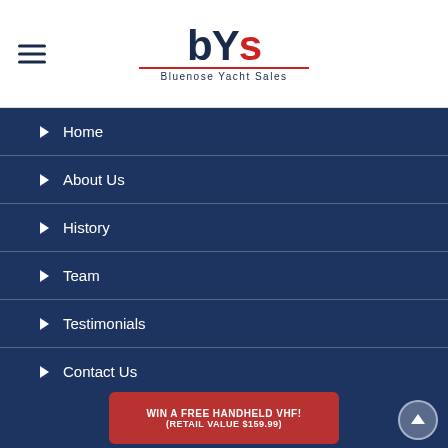[Figure (logo): Bluenose Yacht Sales logo with bYs text and red underline]
Home
About Us
History
Team
Testimonials
Contact Us
Privacy Policy
WIN A FREE HANDHELD VHF! (RETAIL VALUE $159.99)